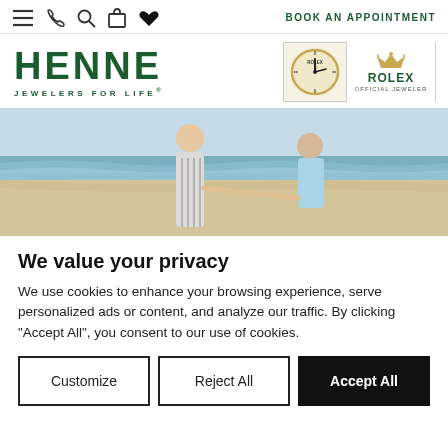BOOK AN APPOINTMENT
[Figure (logo): HENNE Jewelers for Life logo in dark green]
[Figure (logo): Rolex Official Jeweler badge with clock and crown logo]
[Figure (photo): Beach proposal scene: man kneeling offering ring to woman on sandy beach with ocean waves in background]
We value your privacy
We use cookies to enhance your browsing experience, serve personalized ads or content, and analyze our traffic. By clicking "Accept All", you consent to our use of cookies.
Customize | Reject All | Accept All